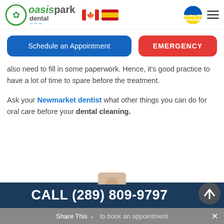[Figure (logo): Oasis Park Dental logo with green circle icon, text 'oasispark dental', Canadian and Spanish flags, Ukraine support badge, and hamburger menu]
[Figure (other): Two buttons: blue 'Schedule an Appointment' and red 'EMERGENCY']
also need to fill in some paperwork. Hence, it's good practice to have a lot of time to spare before the treatment.
Ask your Newmarket dentist what other things you can do for oral care before your dental cleaning.
[Figure (other): Dark blue CTA banner with CALL (289) 809-9797 and partial photo of person smiling, back-to-top button]
Share This ∨  to book an appointment  ×